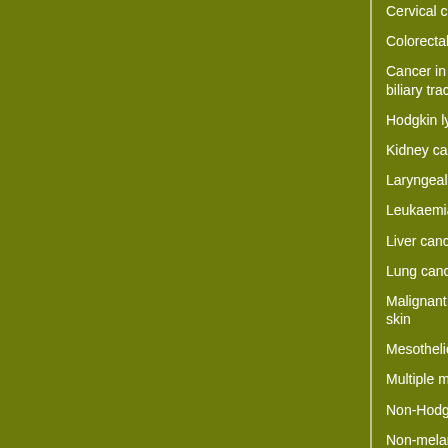Cervical cancer
Colorectal cancer
Cancer in gallbladder and biliary tract
Hodgkin lymphoma
Kidney cancer
Laryngeal cancer
Leukaemias
Liver cancer
Lung cancer
Malignant melanoma of the skin
Mesothelioma
Multiple myeloma
Non-Hodgkin lymphoma
Non-melanoma skin cancer
Oesophageal cancer
Cancer of the oral cavity and throat
Ovarian cancer